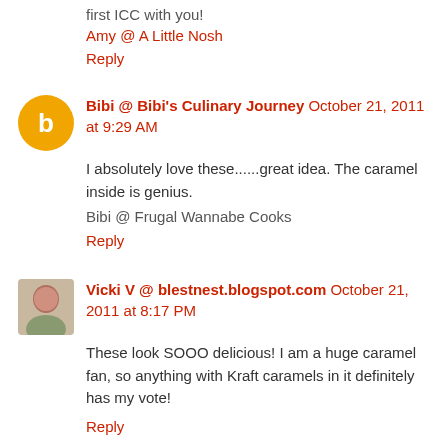first ICC with you!
Amy @ A Little Nosh
Reply
Bibi @ Bibi's Culinary Journey  October 21, 2011 at 9:29 AM
I absolutely love these......great idea. The caramel inside is genius.
Bibi @ Frugal Wannabe Cooks
Reply
Vicki V @ blestnest.blogspot.com  October 21, 2011 at 8:17 PM
These look SOOO delicious! I am a huge caramel fan, so anything with Kraft caramels in it definitely has my vote!
Reply